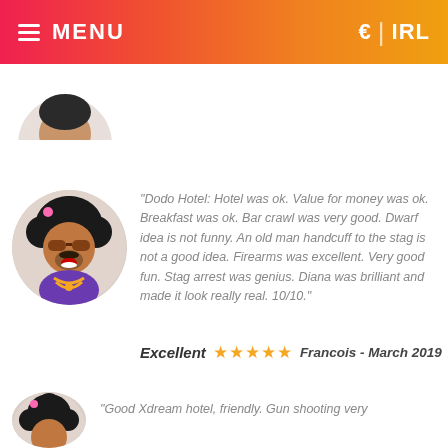☰ MENU  €  |  IRL
[Figure (illustration): Partial circular avatar illustration at top left, showing a cartoon character with turquoise clothing, partially cut off]
"Dodo Hotel: Hotel was ok. Value for money was ok. Breakfast was ok. Bar crawl was very good. Dwarf idea is not funny. An old man handcuff to the stag is not a good idea. Firearms was excellent. Very good fun. Stag arrest was genius. Diana was brilliant and made it look really real. 10/10."
Excellent ★★★★★ Francois - March 2019
[Figure (illustration): Circular avatar illustration of a cartoon character with an afro hairstyle, sunglasses, beard, and purple shirt with gold necklace]
"Good Xdream hotel, friendly. Gun shooting very